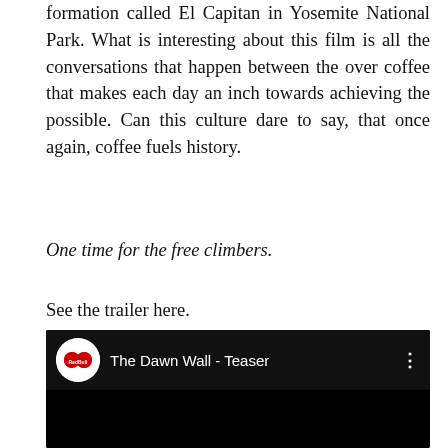formation called El Capitan in Yosemite National Park. What is interesting about this film is all the conversations that happen between the over coffee that makes each day an inch towards achieving the possible. Can this culture dare to say, that once again, coffee fuels history.
One time for the free climbers.
See the trailer here.
[Figure (screenshot): YouTube video embed showing Red Bull's 'The Dawn Wall - Teaser' video thumbnail with black background and Red Bull logo]